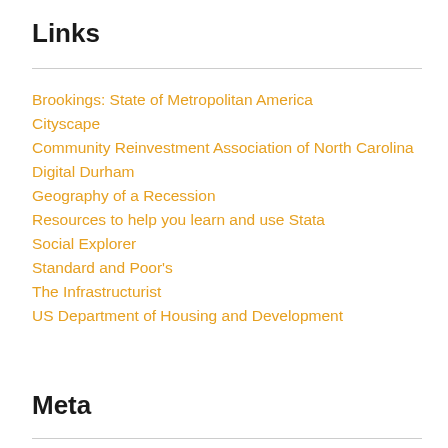Links
Brookings: State of Metropolitan America
Cityscape
Community Reinvestment Association of North Carolina
Digital Durham
Geography of a Recession
Resources to help you learn and use Stata
Social Explorer
Standard and Poor's
The Infrastructurist
US Department of Housing and Development
Meta